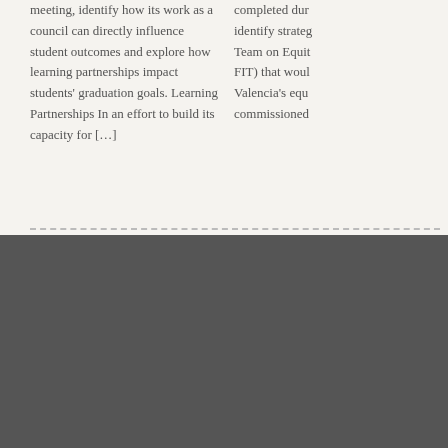meeting, identify how its work as a council can directly influence student outcomes and explore how learning partnerships impact students' graduation goals. Learning Partnerships In an effort to build its capacity for [...]
completed dur identify strateg Team on Equit FIT) that woul Valencia's equ commissioned
[Figure (logo): Valencia College logo — white serif text 'VALENCIA' on black background]
The Grove | The Grove Home | Submit News & Events | Contact Us | Events | Privacy | Valencia News | News & Features | Office of the President | Valencia Foundation | Valen… | Facult… | Valenc… | Human… | Vision…